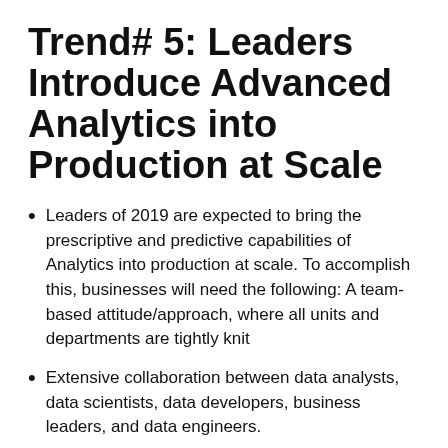Trend# 5: Leaders Introduce Advanced Analytics into Production at Scale
Leaders of 2019 are expected to bring the prescriptive and predictive capabilities of Analytics into production at scale. To accomplish this, businesses will need the following: A team-based attitude/approach, where all units and departments are tightly knit
Extensive collaboration between data analysts, data scientists, data developers, business leaders, and data engineers.
The incorporation of ML and DL models into business